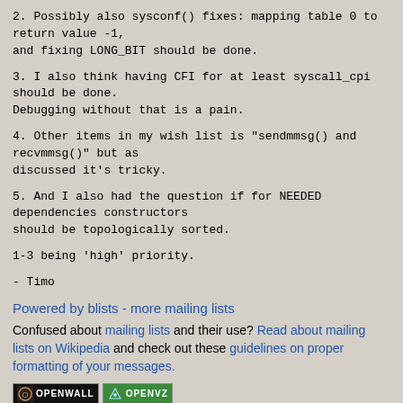2. Possibly also sysconf() fixes: mapping table 0 to return value -1,
and fixing LONG_BIT should be done.
3. I also think having CFI for at least syscall_cpi should be done.
Debugging without that is a pain.
4. Other items in my wish list is "sendmmsg() and recvmmsg()" but as
discussed it's tricky.
5. And I also had the question if for NEEDED dependencies constructors
should be topologically sorted.
1-3 being 'high' priority.
- Timo
Powered by blists - more mailing lists
Confused about mailing lists and their use? Read about mailing lists on Wikipedia and check out these guidelines on proper formatting of your messages.
[Figure (logo): Openwall and OpenVZ badge logos]